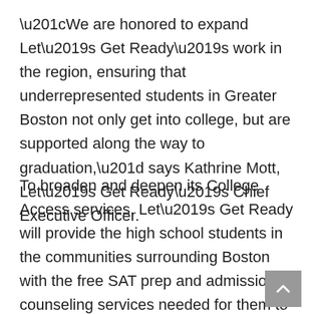“We are honored to expand Let’s Get Ready’s work in the region, ensuring that underrepresented students in Greater Boston not only get into college, but are supported along the way to graduation,” says Kathrine Mott, Let’s Get Ready’s Chief Executive Officer.
To broaden and deepen its College Access services, Let’s Get Ready will provide the high school students in the communities surrounding Boston with the free SAT prep and admission counseling services needed for them to successfully apply to and enroll in college. The organization will immediately focus on expanding enrollment in its existing Greater